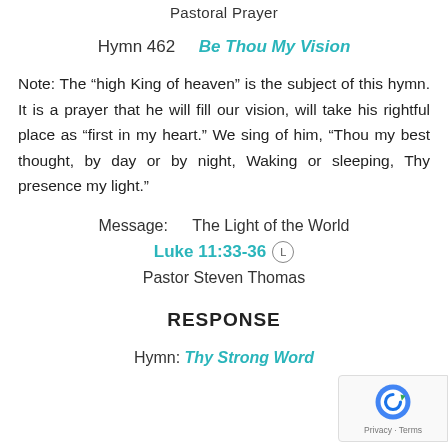Pastoral Prayer
Hymn 462    Be Thou My Vision
Note: The “high King of heaven” is the subject of this hymn. It is a prayer that he will fill our vision, will take his rightful place as “first in my heart.” We sing of him, “Thou my best thought, by day or by night, Waking or sleeping, Thy presence my light.”
Message:      The Light of the World
Luke 11:33-36
Pastor Steven Thomas
RESPONSE
Hymn: Thy Strong Word